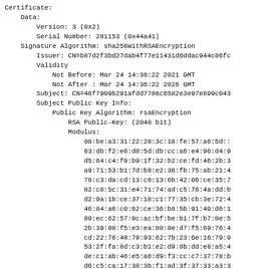Certificate:
    Data:
        Version: 3 (0x2)
        Serial Number: 281153 (0x44a41)
    Signature Algorithm: sha256WithRSAEncryption
        Issuer: CN=b87d2f3bd27dab4f77e11431d6ddac944c06fc
        Validity
            Not Before: Mar 24 14:36:22 2021 GMT
            Not After : Mar 24 14:36:22 2026 GMT
        Subject: CN=46f7909b291afdd7786c6582e3e97e899c043
        Subject Public Key Info:
            Public Key Algorithm: rsaEncryption
                RSA Public-Key: (2048 bit)
                Modulus:
                    00:be:a3:31:22:28:3c:18:fe:57:a6:5d::
                    63:db:f2:e6:d8:5d:db:cc:a6:e4:96:d4:9
                    d5:84:c4:f9:b9:1f:32:b2:ce:fd:46:2b:3
                    a9:71:53:b1:7d:b8:e2:36:fb:75:ab:21:4
                    78:c3:da:cd:13:c8:13:6b:42:06:ce:35:7
                    82:c0:5c:31:e4:71:74:ad:c5:76:4a:dd:b
                    d2:9a:1b:ce:37:18:c1:77:35:cb:3e:72:4
                    46:04:a6:c0:62:ce:36:b8:5b:91:40:d6:1
                    80:ec:62:57:0c:ac:bf:be:b1:7f:b7:0e:5
                    2b:39:98:f5:e3:ea:80:0e:d7:f5:69:76:4
                    cd:22:76:48:79:93:62:7b:23:6e:16:79:9
                    53:2f:fa:8d:c3:b1:e2:d9:8b:dd:e8:a5:4
                    de:c1:ab:46:e5:a6:d9:f3:cc:c7:37:78:b
                    d6:c5:ca:17:38:3b:f1:ad:3f:37:33:a3:3
                    10:61:6c:35:01:ff:f3:fe:44:1d:7f:b6:b
                    95:e8:5d:6e:87:cc:40:a3:2f:78:ac:a1:1